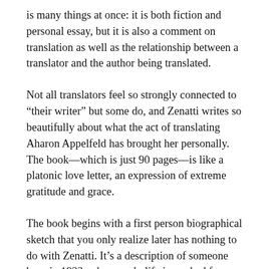is many things at once: it is both fiction and personal essay, but it is also a comment on translation as well as the relationship between a translator and the author being translated.
Not all translators feel so strongly connected to “their writer” but some do, and Zenatti writes so beautifully about what the act of translating Aharon Appelfeld has brought her personally. The book—which is just 90 pages—is like a platonic love letter, an expression of extreme gratitude and grace.
The book begins with a first person biographical sketch that you only realize later has nothing to do with Zenatti. It’s a description of someone born in 1932, whose early life is marked forever by WWII: removal to a ghetto, death of his mother, deported to and escape from a concentration camp, years of hiding until he arrives in Israel (just before independence), and then his adolescence in Israel and the learning of a new